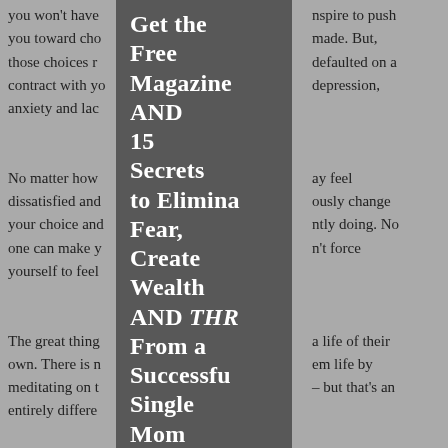you won't have [text continues] conspire to push you toward cho[ices that are] made. But, those choices r[esulted in you] defaulted on a contract with yo[ur] depression, anxiety and lac[k of purpose]
No matter how [you] may feel dissatisfied and [want to] ously change your choice and [what you're curre]ntly doing. No one can make y[ou] n't force yourself to feel
The great thing [is that you can live] a life of their own. There is n[othing stopping the]m life by meditating on t[heir dreams] – but that's an entirely differe[nt subject]
So what's happ[ening that's affecting yo]ur decisions?
[Figure (infographic): Dark gray overlay panel with bold white text reading: Get the Free Magazine AND 15 Secrets to Eliminate Fear, Create Wealth AND THRIVE From a Successful Single Mom]